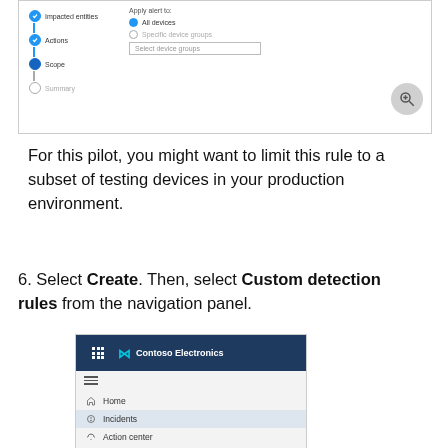[Figure (screenshot): UI screenshot showing a wizard step panel on the left with Impacted entities, Actions, Scope, and Summary steps, and on the right an 'Apply alert to' panel with All devices selected and a Select device groups dropdown. A zoom button is in the bottom right corner.]
For this pilot, you might want to limit this rule to a subset of testing devices in your production environment.
6. Select Create. Then, select Custom detection rules from the navigation panel.
[Figure (screenshot): Screenshot of Contoso Electronics navigation panel showing Home, Incidents (highlighted), Action center, and Reports menu items.]